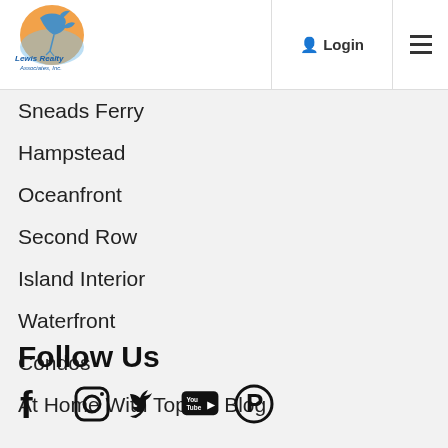[Figure (logo): Lewis Realty Associates Inc. logo with heron bird and orange/blue circle]
Login  ☰
Sneads Ferry
Hampstead
Oceanfront
Second Row
Island Interior
Waterfront
Condos
At Home With Topsail Blog
Follow Us
[Figure (infographic): Social media icons: Facebook, Instagram, Twitter, YouTube, Pinterest]